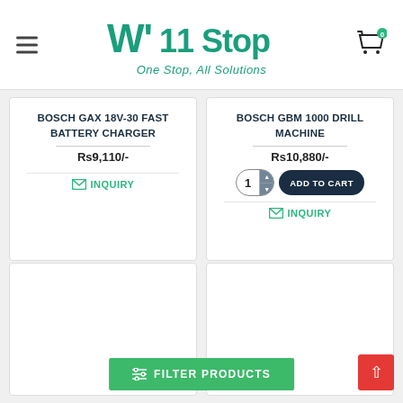W'11 Stop — One Stop, All Solutions
BOSCH GAX 18V-30 FAST BATTERY CHARGER Rs9,110/-
INQUIRY
BOSCH GBM 1000 DRILL MACHINE Rs10,880/- ADD TO CART
INQUIRY
[Figure (screenshot): Empty product card placeholder (bottom left)]
[Figure (screenshot): Empty product card placeholder (bottom right)]
FILTER PRODUCTS